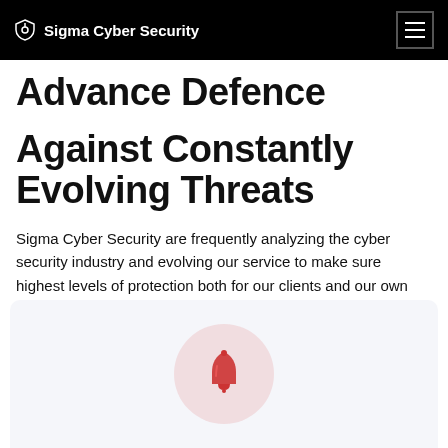Sigma Cyber Security
Advance Defence Against Constantly Evolving Threats
Sigma Cyber Security are frequently analyzing the cyber security industry and evolving our service to make sure highest levels of protection both for our clients and our own business.
[Figure (illustration): A red bell notification icon centered inside a light pink/red circular background, displayed on a light gray card panel.]